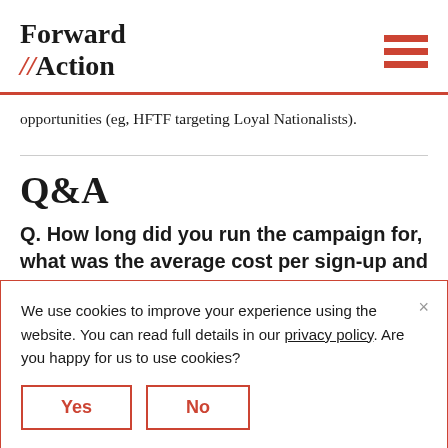Forward Action
opportunities (eg, HFTF targeting Loyal Nationalists).
Q&A
Q. How long did you run the campaign for, what was the average cost per sign-up and
We use cookies to improve your experience using the website. You can read full details in our privacy policy. Are you happy for us to use cookies?